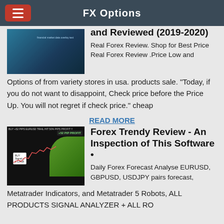FX Options
and Reviewed (2019-2020)
[Figure (screenshot): Thumbnail image of a forex/financial market chart with blue background]
Real Forex Review. Shop for Best Price Real Forex Review .Price Low and Options of from variety stores in usa. products sale. "Today, if you do not want to disappoint, Check price before the Price Up. You will not regret if check price." cheap
READ MORE
[Figure (screenshot): Screenshot of a forex trading chart showing +52 PIP PROFIT with a buy signal box, green background element, and candlestick chart]
Forex Trendy Review - An Inspection of This Software •
Daily Forex Forecast Analyse EURUSD, GBPUSD, USDJPY pairs forecast, Metatrader Indicators, and Metatrader 5 Robots, ALL PRODUCTS SIGNAL ANALYZER + ALL RO